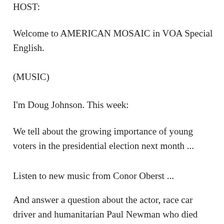HOST:
Welcome to AMERICAN MOSAIC in VOA Special English.
(MUSIC)
I'm Doug Johnson. This week:
We tell about the growing importance of young voters in the presidential election next month ...
Listen to new music from Conor Oberst ...
And answer a question about the actor, race car driver and humanitarian Paul Newman who died two weeks ago.